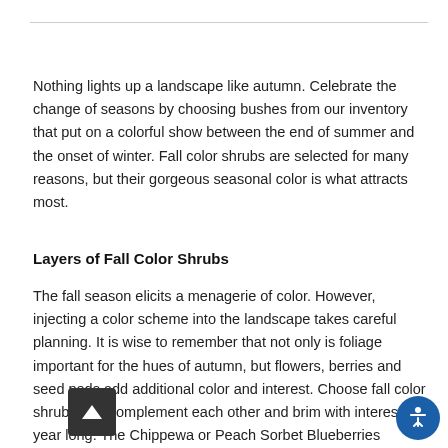Nothing lights up a landscape like autumn. Celebrate the change of seasons by choosing bushes from our inventory that put on a colorful show between the end of summer and the onset of winter. Fall color shrubs are selected for many reasons, but their gorgeous seasonal color is what attracts most.
Layers of Fall Color Shrubs
The fall season elicits a menagerie of color. However, injecting a color scheme into the landscape takes careful planning. It is wise to remember that not only is foliage important for the hues of autumn, but flowers, berries and seed pods add additional color and interest. Choose fall color shrubs that complement each other and brim with interest all year long. The Chippewa or Peach Sorbet Blueberries (vaccinium) are ornamental, fruit producing and have striking fall c[olor.] An eye-catching combination is created when the purp[le-ora]nge of the Black Chokeberry (Aronia melanocarpa...